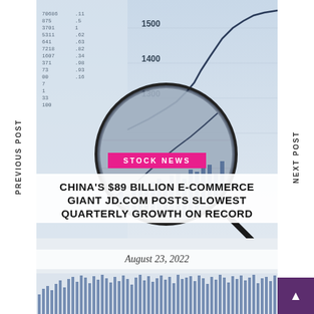[Figure (photo): Financial stock chart background with magnifying glass, showing line chart with values around 1300-1500 and financial data columns]
STOCK NEWS
CHINA'S $89 BILLION E-COMMERCE GIANT JD.COM POSTS SLOWEST QUARTERLY GROWTH ON RECORD
August 23, 2022
PREVIOUS POST
NEXT POST